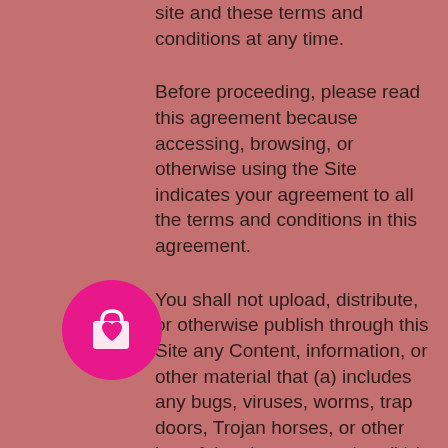site and these terms and conditions at any time.
Before proceeding, please read this agreement because accessing, browsing, or otherwise using the Site indicates your agreement to all the terms and conditions in this agreement.
You shall not upload, distribute, or otherwise publish through this Site any Content, information, or other material that (a) includes any bugs, viruses, worms, trap doors, Trojan horses, or other harmful code or properties; (b) is libelous, threatening, defamatory, obscene, indecent, pornographic, discriminatory, or could give rise to
[Figure (illustration): Pink circle icon with a shopping bag and heart symbol]